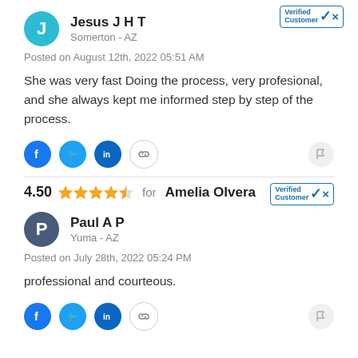Posted on August 12th, 2022 05:51 AM
She was very fast Doing the process, very profesional, and she always kept me informed step by step of the process.
4.50  for Amelia Olvera
Paul A P
Yuma - AZ
Posted on July 28th, 2022 05:24 PM
professional and courteous.